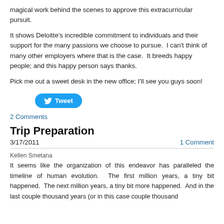magical work behind the scenes to approve this extracurricular pursuit.
It shows Deloitte's incredible commitment to individuals and their support for the many passions we choose to pursue.  I can't think of many other employers where that is the case.  It breeds happy people; and this happy person says thanks.
Pick me out a sweet desk in the new office; I'll see you guys soon!
[Figure (other): Twitter Tweet button]
2 Comments
Trip Preparation
3/17/2011
1 Comment
Kellen Smetana
It seems like the organization of this endeavor has paralleled the timeline of human evolution.  The first million years, a tiny bit happened.  The next million years, a tiny bit more happened.  And in the last couple thousand years (or in this case couple thousand